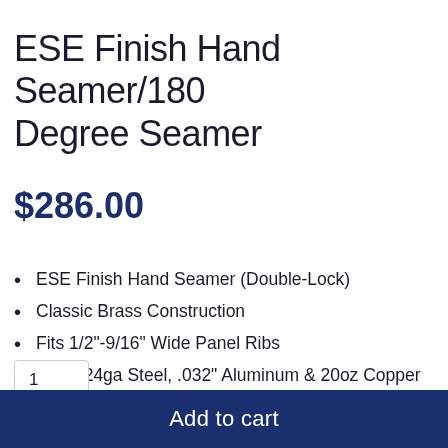ESE Finish Hand Seamer/180 Degree Seamer
$286.00
ESE Finish Hand Seamer (Double-Lock)
Classic Brass Construction
Fits 1/2"-9/16" Wide Panel Ribs
Folds 24ga Steel, .032" Aluminum & 20oz Copper
1
Add to cart